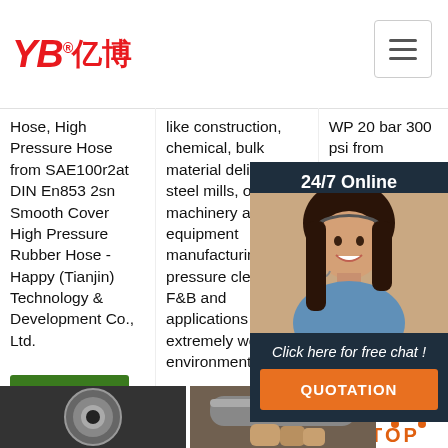[Figure (logo): YB 亿博 company logo in red with registered trademark symbol]
Hose, High Pressure Hose from SAE100r2at DIN En853 2sn Smooth Cover High Pressure Rubber Hose - Happy (Tianjin) Technology & Development Co., Ltd.
like construction, chemical, bulk material delivery, steel mills, oil & gas, machinery and equipment manufacturing, high pressure cleaning, F&B and applications of extremely working environment.
WP 20 bar 300 psi from leading Hose strictly Heavy Duty Hose high Duty Service
Get Price
Get Price
G
[Figure (photo): Customer service agent woman with headset, smiling, with 24/7 Online chat widget overlay showing 'Click here for free chat!' and 'QUOTATION' button]
[Figure (photo): Close-up of rubber hose cross-section end]
[Figure (photo): Hand holding a rubber hose]